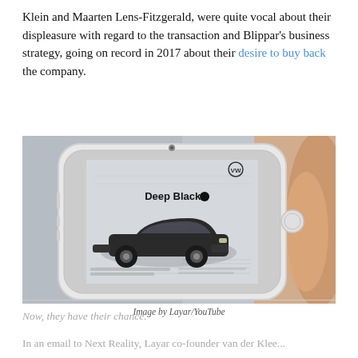Klein and Maarten Lens-Fitzgerald, were quite vocal about their displeasure with regard to the transaction and Blippar's business strategy, going on record in 2017 about their desire to buy back the company.
[Figure (photo): A hand holding a white iPhone displaying a Volkswagen 'Deep Black' augmented reality advertisement overlay on a printed newspaper/magazine page. Image credit: Layar/YouTube.]
Image by Layar/YouTube
Now, they have their chance.
In an email to Next Reality, Layar co-founder van der Klee...